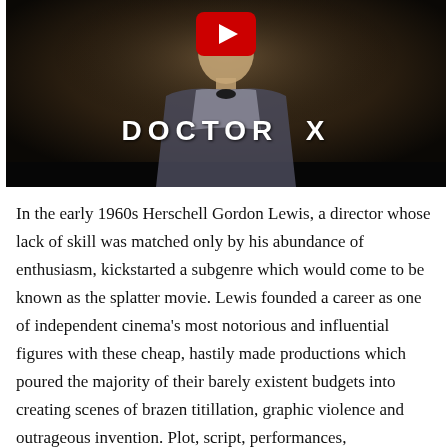[Figure (screenshot): Video thumbnail showing a person in a striped jacket with the title 'DOCTOR X' overlaid in white bold text, with a YouTube play button at the top center. Dark cinematic background.]
In the early 1960s Herschell Gordon Lewis, a director whose lack of skill was matched only by his abundance of enthusiasm, kickstarted a subgenre which would come to be known as the splatter movie. Lewis founded a career as one of independent cinema's most notorious and influential figures with these cheap, hastily made productions which poured the majority of their barely existent budgets into creating scenes of brazen titillation, graphic violence and outrageous invention. Plot, script, performances, cinematography: these were all subsidiary. 1963's Blood Feast, Lewis's first stab at exploitation horror, centres around an Egyptian caterer in the thrall of an ancient goddess who demands he provide